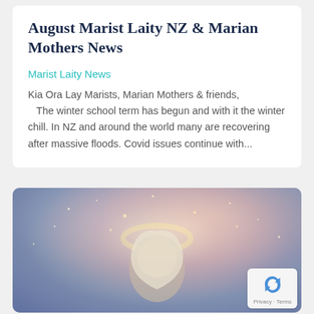August Marist Laity NZ & Marian Mothers News
Marist Laity News
Kia Ora Lay Marists, Marian Mothers & friends,
   The winter school term has begun and with it the winter chill. In NZ and around the world many are recovering after massive floods. Covid issues continue with...
[Figure (illustration): Painting of the Virgin Mary with a halo of stars and warm glowing light, blue and pink atmospheric background, figure looking forward with a hood/veil, cut off at mid-frame.]